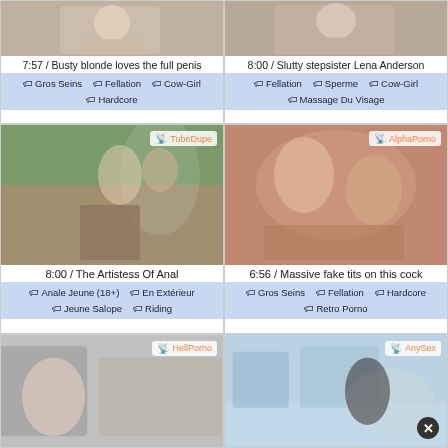[Figure (screenshot): Video thumbnail top-left: busty blonde]
7:57 / Busty blonde loves the full penis
Gros Seins  Fellation  Cow-Girl  Hardcore
[Figure (screenshot): Video thumbnail top-right: Lena Anderson]
8:00 / Slutty stepsister Lena Anderson
Fellation  Sperme  Cow-Girl  Massage Du Visage
[Figure (screenshot): Video thumbnail mid-left: outdoor scene, source TubeDupe]
8:00 / The Artistess Of Anal
Anale Jeune (18+)  En Extérieur  Jeune Salope  Riding
[Figure (screenshot): Video thumbnail mid-right: bedroom scene, source AlphaPorno]
6:56 / Massive fake tits on this cock
Gros Seins  Fellation  Hardcore  Retro Porno
[Figure (screenshot): Video thumbnail bottom-left: source HellPorno]
[Figure (screenshot): Video thumbnail bottom-right: source AnySex, with close X button]